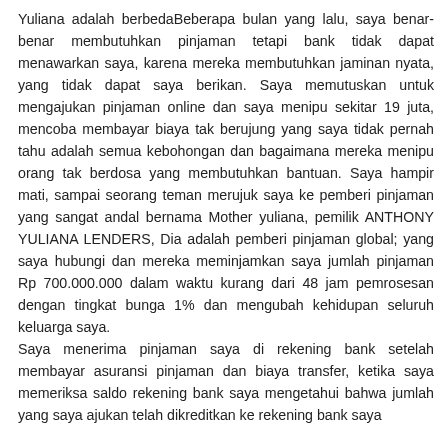Yuliana adalah berbedaBeberapa bulan yang lalu, saya benar-benar membutuhkan pinjaman tetapi bank tidak dapat menawarkan saya, karena mereka membutuhkan jaminan nyata, yang tidak dapat saya berikan. Saya memutuskan untuk mengajukan pinjaman online dan saya menipu sekitar 19 juta, mencoba membayar biaya tak berujung yang saya tidak pernah tahu adalah semua kebohongan dan bagaimana mereka menipu orang tak berdosa yang membutuhkan bantuan. Saya hampir mati, sampai seorang teman merujuk saya ke pemberi pinjaman yang sangat andal bernama Mother yuliana, pemilik ANTHONY YULIANA LENDERS, Dia adalah pemberi pinjaman global; yang saya hubungi dan mereka meminjamkan saya jumlah pinjaman Rp 700.000.000 dalam waktu kurang dari 48 jam pemrosesan dengan tingkat bunga 1% dan mengubah kehidupan seluruh keluarga saya. Saya menerima pinjaman saya di rekening bank setelah membayar asuransi pinjaman dan biaya transfer, ketika saya memeriksa saldo rekening bank saya mengetahui bahwa jumlah yang saya ajukan telah dikreditkan ke rekening bank saya